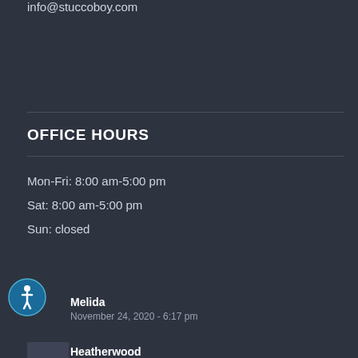info@stuccoboy.com
OFFICE HOURS
Mon-Fri: 8:00 am-5:00 pm
Sat: 8:00 am-5:00 pm
Sun: closed
Melida
November 24, 2020 - 6:17 pm
Heatherwood